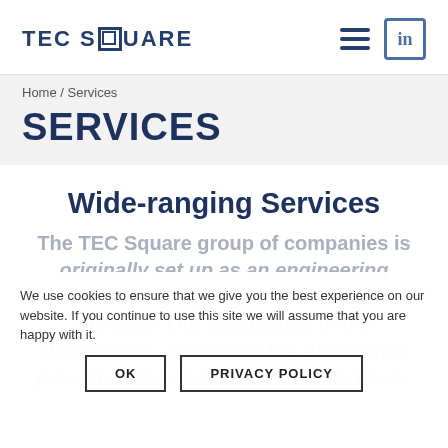TEC SQUARE
Home / Services
SERVICES
Wide-ranging Services
The TEC Square group of companies is originally set up as an engineering services provider. Our companies in the Netherlands, Spain and the Philippines provide these services on a daily basis,
We use cookies to ensure that we give you the best experience on our website. If you continue to use this site we will assume that you are happy with it.
OK   PRIVACY POLICY